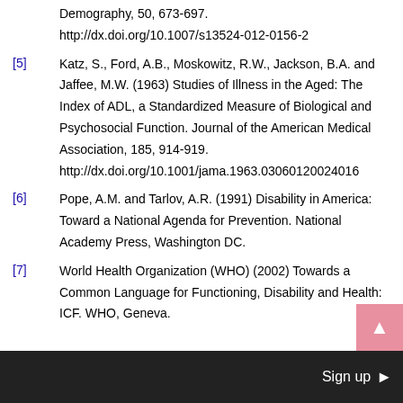Demography, 50, 673-697. http://dx.doi.org/10.1007/s13524-012-0156-2
[5] Katz, S., Ford, A.B., Moskowitz, R.W., Jackson, B.A. and Jaffee, M.W. (1963) Studies of Illness in the Aged: The Index of ADL, a Standardized Measure of Biological and Psychosocial Function. Journal of the American Medical Association, 185, 914-919. http://dx.doi.org/10.1001/jama.1963.03060120024016
[6] Pope, A.M. and Tarlov, A.R. (1991) Disability in America: Toward a National Agenda for Prevention. National Academy Press, Washington DC.
[7] World Health Organization (WHO) (2002) Towards a Common Language for Functioning, Disability and Health: ICF. WHO, Geneva.
Sign up